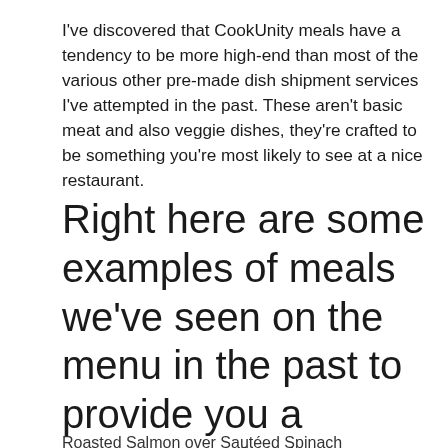I've discovered that CookUnity meals have a tendency to be more high-end than most of the various other pre-made dish shipment services I've attempted in the past. These aren't basic meat and also veggie dishes, they're crafted to be something you're most likely to see at a nice restaurant.
Right here are some examples of meals we've seen on the menu in the past to provide you a concept of what you can anticipate.
Roasted Salmon over Sautéed Spinach